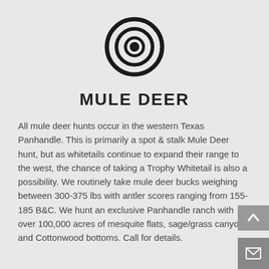[Figure (logo): Bullseye / target icon — three concentric circles with a filled center dot, black on light grey background]
MULE DEER
All mule deer hunts occur in the western Texas Panhandle. This is primarily a spot & stalk Mule Deer hunt, but as whitetails continue to expand their range to the west, the chance of taking a Trophy Whitetail is also a possibility. We routinely take mule deer bucks weighing between 300-375 lbs with antler scores ranging from 155-185 B&C. We hunt an exclusive Panhandle ranch with over 100,000 acres of mesquite flats, sage/grass canyons, and Cottonwood bottoms. Call for details.